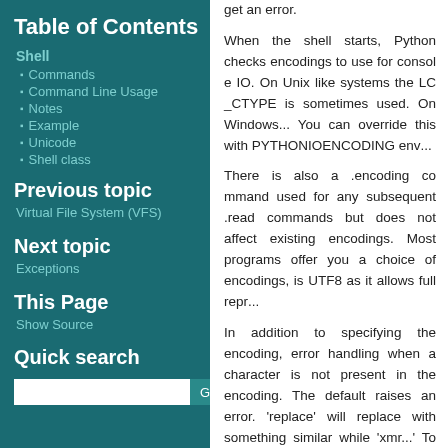get an error.
When the shell starts, Python checks encodings to use for console IO. On Unix like systems the LC_CTYPE is sometimes used. On Windows... You can override this with the PYTHONIOENCODING env...
There is also a .encoding command that is used for any subsequent .read commands but does not affect existing encodings. Most programs offer you a choice of encodings, is UTF8 as it allows full repr...
In addition to specifying the encoding, error handling when a char is not present in the encoding. The default raises an error. 'replace' will replace with something similar while 'xm... To specify the error handling after the encoding - eg:
Table of Contents
Shell
Commands
Command Line Usage
Notes
Example
Unicode
Shell class
Previous topic
Virtual File System (VFS)
Next topic
Exceptions
This Page
Show Source
Quick search